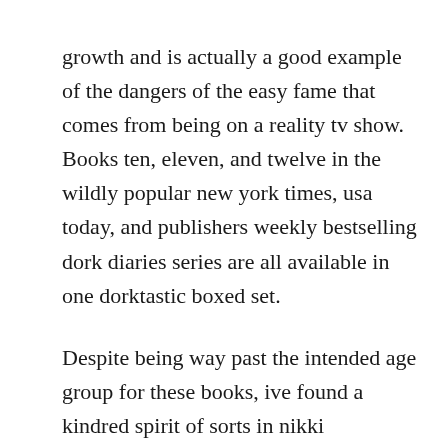growth and is actually a good example of the dangers of the easy fame that comes from being on a reality tv show. Books ten, eleven, and twelve in the wildly popular new york times, usa today, and publishers weekly bestselling dork diaries series are all available in one dorktastic boxed set.
Despite being way past the intended age group for these books, ive found a kindred spirit of sorts in nikki maxwellthe artistic dorky girl who just wants to make friends, survive middlehigh school, and stay one step